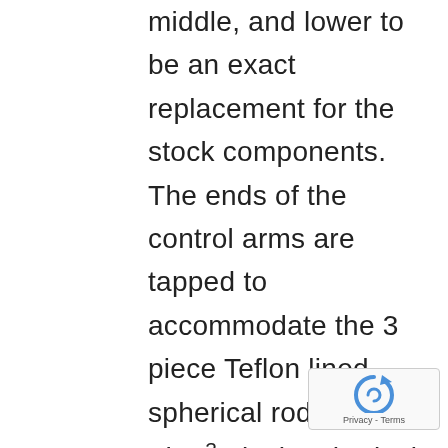middle, and lower to be an exact replacement for the stock components. The ends of the control arms are tapped to accommodate the 3 piece Teflon lined spherical rods ends. The ¾ inch spherical rod ends have opposing threads and are locked in place with a stainless steel jam nut. Each rod ends through hole is 5/8 inch diameter with steel spacers machined to spec for a secure fit to the rear frame brace or wheel carrier. Each upper and lower radius rod is a hexagonal shape so can easily adjust on the fly using a
[Figure (other): Google reCAPTCHA widget overlay showing the reCAPTCHA logo (circular arrow icon in blue) and 'Privacy - Terms' text below.]